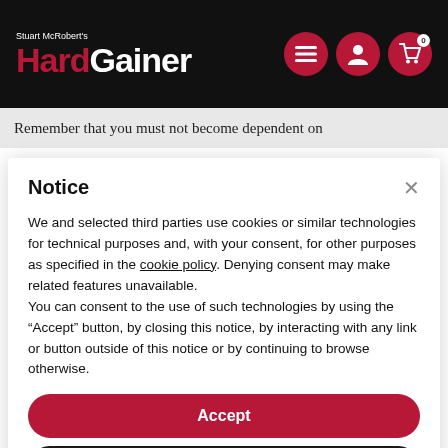[Figure (logo): Stuart McRobert's HardGainer logo in white and red on black header with navigation icons]
Remember that you must not become dependent on
Notice
We and selected third parties use cookies or similar technologies for technical purposes and, with your consent, for other purposes as specified in the cookie policy. Denying consent may make related features unavailable.
You can consent to the use of such technologies by using the “Accept” button, by closing this notice, by interacting with any link or button outside of this notice or by continuing to browse otherwise.
Accept
Learn more and customize